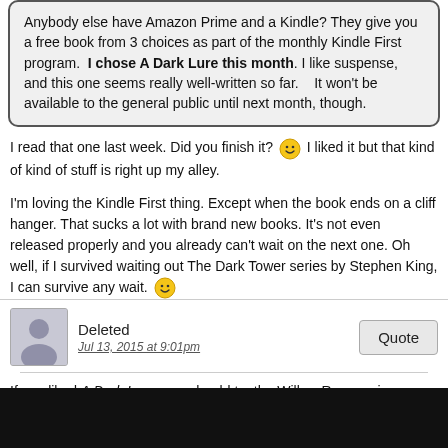Anybody else have Amazon Prime and a Kindle? They give you a free book from 3 choices as part of the monthly Kindle First program. I chose A Dark Lure this month. I like suspense, and this one seems really well-written so far. It won't be available to the general public until next month, though.
I read that one last week. Did you finish it? [smiley] I liked it but that kind of stuff is right up my alley.
I'm loving the Kindle First thing. Except when the book ends on a cliff hanger. That sucks a lot with brand new books. It's not even released properly and you already can't wait on the next one. Oh well, if I survived waiting out The Dark Tower series by Stephen King, I can survive any wait. [smiley]
Deleted
Jul 13, 2015 at 9:01pm
If you liked A Dark Lure, you should try the Willow Rose series. (She's the author.) They often come up free on Bookbub. She's a Scandinavian author, which makes her settings interesting. I did like A Dark Lure.
Has anyone else preordered Harper Lee's new book? I did, and Amazon